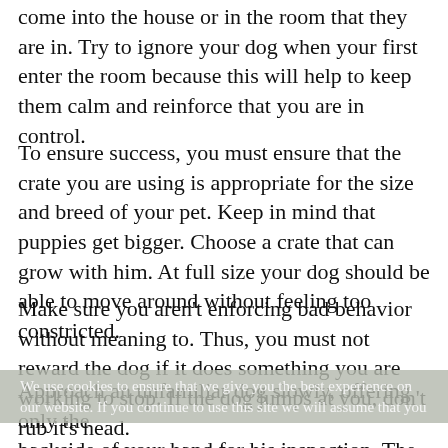come into the house or in the room that they are in. Try to ignore your dog when your first enter the room because this will help to keep them calm and reinforce that you are in control.
To ensure success, you must ensure that the crate you are using is appropriate for the size and breed of your pet. Keep in mind that puppies get bigger. Choose a crate that can grow with him. At full size your dog should be able to move around without feeling too constricted.
Make sure you aren't enforcing bad behavior without meaning to. Thus, you must not reward the dog if it does something you are working to stop. If the dog jumps at you, don't rub it's head.
We use cookies to ensure that we give you the best experience on our website. If you continue to use this site we will assume that you
Approach an unfamiliar dog slowly, offering only the backside of your hand for his inspection. The dog will become familiar with your smell and recognize the scent in the future. The dog will no longer be afraid after he is able